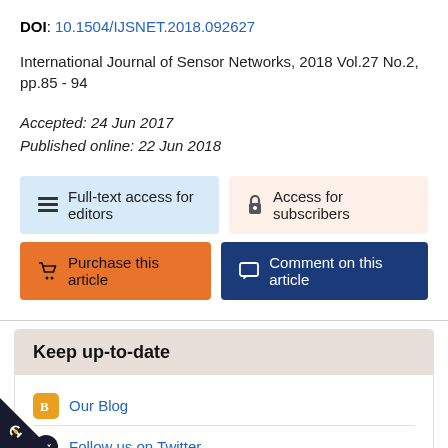DOI: 10.1504/IJSNET.2018.092627
International Journal of Sensor Networks, 2018 Vol.27 No.2, pp.85 - 94
Accepted: 24 Jun 2017
Published online: 22 Jun 2018
Full-text access for editors
Access for subscribers
Purchase this article
Comment on this article
Keep up-to-date
Our Blog
Follow us on Twitter